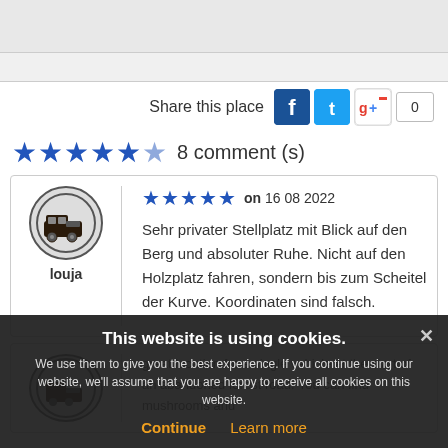[Figure (screenshot): Top navigation/banner area (gray)]
Share this place
[Figure (infographic): Social share buttons: Facebook, Twitter, Google+, count box showing 0]
[Figure (infographic): 5 blue stars rating with half star, 8 comment(s)]
8 comment (s)
[Figure (infographic): Reviewer avatar: van/camper icon in circle, reviewer name: louja]
louja
on 16 08 2022
Sehr privater Stellplatz mit Blick auf den Berg und absoluter Ruhe. Nicht auf den Holzplatz fahren, sondern bis zum Scheitel der Kurve. Koordinaten sind falsch.
This website is using cookies. We use them to give you the best experience. If you continue using our website, we'll assume that you are happy to receive all cookies on this website.
Continue
Learn more